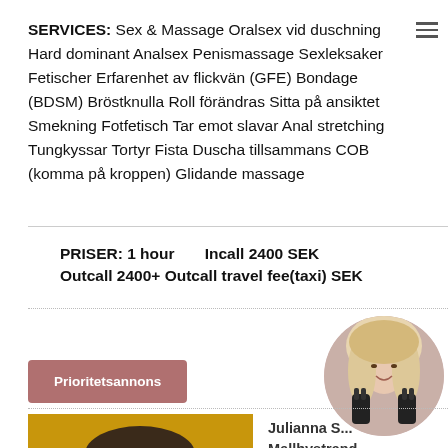SERVICES: Sex & Massage Oralsex vid duschning Hard dominant Analsex Penismassage Sexleksaker Fetischer Erfarenhet av flickvän (GFE) Bondage (BDSM) Bröstknulla Roll förändras Sitta på ansiktet Smekning Fotfetisch Tar emot slavar Anal stretching Tungkyssar Tortyr Fista Duscha tillsammans COB (komma på kroppen) Glidande massage
PRISER: 1 hour     Incall 2400 SEK Outcall 2400+ Outcall travel fee(taxi) SEK
Prioritetsannons
[Figure (photo): Circular profile photo of a blonde woman in black gloves posing]
Julianna S... Mellbystrand
[Figure (photo): Partial photo of a woman with dark hair against a yellow/golden background]